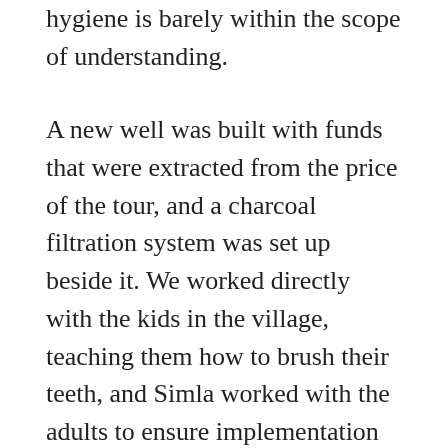hygiene is barely within the scope of understanding.
A new well was built with funds that were extracted from the price of the tour, and a charcoal filtration system was set up beside it. We worked directly with the kids in the village, teaching them how to brush their teeth, and Simla worked with the adults to ensure implementation of a daily routine moving forward.
The small donation of toothbrushes and toothpaste (which we appropriated from the bathrooms in our accommodation), coupled